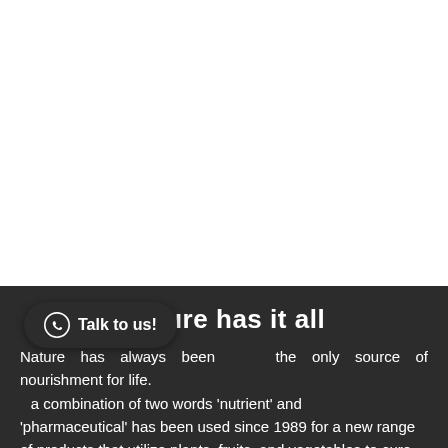[Figure (photo): White/blank upper portion of the page, likely a cropped image area]
Nature has it all
Nature has always been the only source of nourishment for life. 'Nutraceutical' a combination of two words 'nutrient' and 'pharmaceutical' has been used since 1989 for a new range of products that utilize plants, fruits, and vegetables to cure